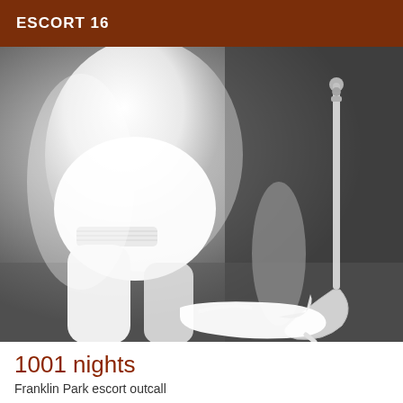ESCORT 16
[Figure (photo): Grayscale photograph of a person wearing a white short skirt and white stockings, bending over to adjust white high-heeled shoes, with a white bag strap visible on the right side.]
1001 nights
Franklin Park escort outcall